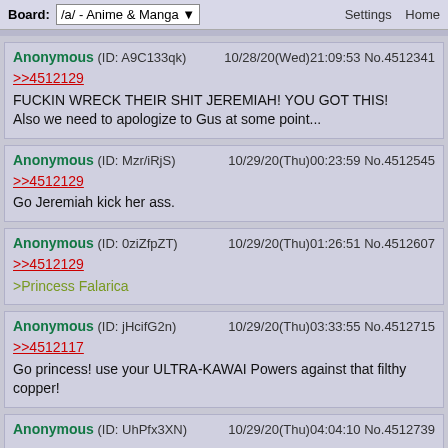Board: /a/ - Anime & Manga   Settings  Home
Anonymous (ID: A9C133qk) 10/28/20(Wed)21:09:53 No.4512341
>>4512129
FUCKIN WRECK THEIR SHIT JEREMIAH! YOU GOT THIS!
Also we need to apologize to Gus at some point...
Anonymous (ID: Mzr/iRjS) 10/29/20(Thu)00:23:59 No.4512545
>>4512129
Go Jeremiah kick her ass.
Anonymous (ID: 0ziZfpZT) 10/29/20(Thu)01:26:51 No.4512607
>>4512129
>Princess Falarica
Anonymous (ID: jHcifG2n) 10/29/20(Thu)03:33:55 No.4512715
>>4512117
Go princess! use your ULTRA-KAWAI Powers against that filthy copper!
Anonymous (ID: UhPfx3XN) 10/29/20(Thu)04:04:10 No.4512739